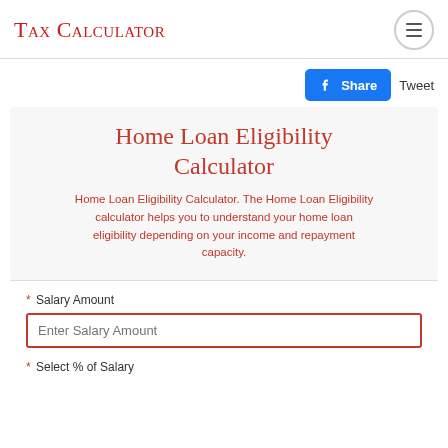Tax Calculator
Home Loan Eligibility Calculator
Home Loan Eligibility Calculator. The Home Loan Eligibility calculator helps you to understand your home loan eligibility depending on your income and repayment capacity.
* Salary Amount
Enter Salary Amount
* Select % of Salary